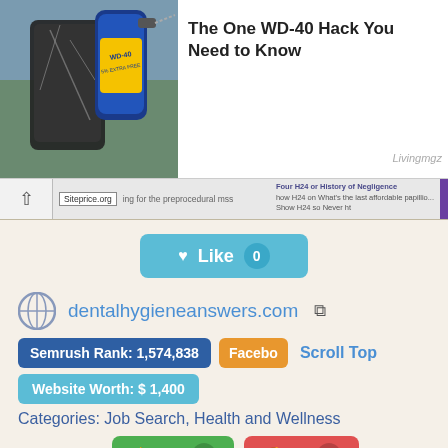[Figure (photo): Photo of a WD-40 spray can being sprayed on a cracked smartphone screen]
The One WD-40 Hack You Need to Know
Livingmgz
[Figure (screenshot): Browser screenshot showing siteprice.org watermark over a website]
[Figure (other): Like button with heart icon showing count 0]
dentalhygieneanswers.com
Semrush Rank: 1,574,838
Facebo
Scroll Top
Website Worth: $ 1,400
Categories: Job Search, Health and Wellness
Is it similar?
Yes 0
No 0